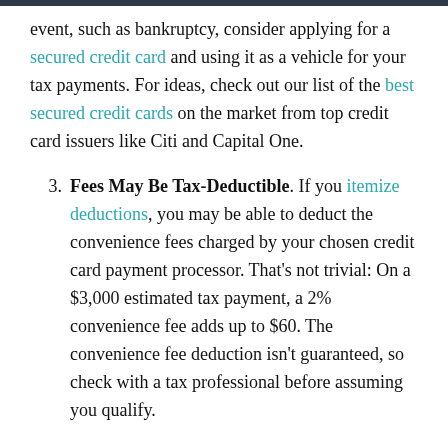event, such as bankruptcy, consider applying for a secured credit card and using it as a vehicle for your tax payments. For ideas, check out our list of the best secured credit cards on the market from top credit card issuers like Citi and Capital One.
3. Fees May Be Tax-Deductible. If you itemize deductions, you may be able to deduct the convenience fees charged by your chosen credit card payment processor. That's not trivial: On a $3,000 estimated tax payment, a 2% convenience fee adds up to $60. The convenience fee deduction isn't guaranteed, so check with a tax professional before assuming you qualify.